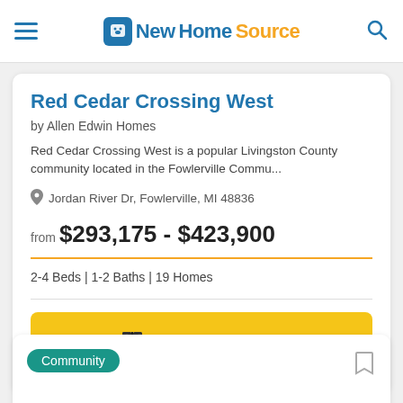NewHomeSource
Red Cedar Crossing West
by Allen Edwin Homes
Red Cedar Crossing West is a popular Livingston County community located in the Fowlerville Commu...
Jordan River Dr, Fowlerville, MI 48836
from $293,175 - $423,900
2-4 Beds | 1-2 Baths | 19 Homes
Get Brochure
Community